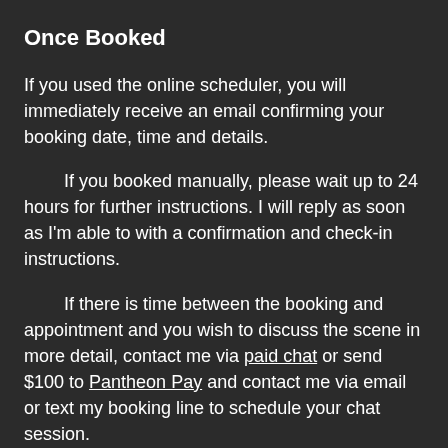Once Booked
If you used the online scheduler, you will immediately receive an email confirming your booking date, time and details.
If you booked manually, please wait up to 24 hours for further instructions. I will reply as soon as I'm able to with a confirmation and check-in instructions.
If there is time between the booking and appointment and you wish to discuss the scene in more detail, contact me via paid chat or send $100 to Pantheon Pay and contact me via email or text my booking line to schedule your chat session.
Please do not blow up my booking line or email if I'm slow to reply during any part of this process. It can take